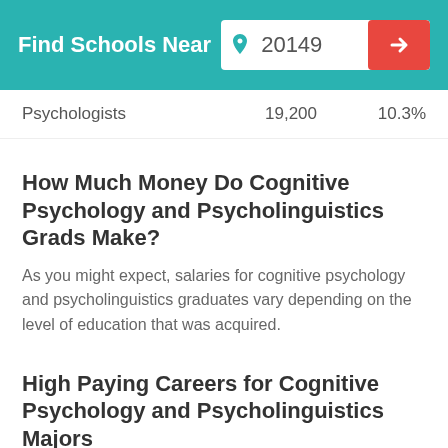Find Schools Near 20149
Psychologists   19,200   10.3%
How Much Money Do Cognitive Psychology and Psycholinguistics Grads Make?
As you might expect, salaries for cognitive psychology and psycholinguistics graduates vary depending on the level of education that was acquired.
High Paying Careers for Cognitive Psychology and Psycholinguistics Majors